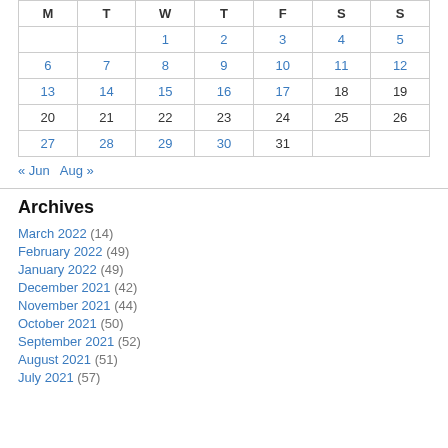| M | T | W | T | F | S | S |
| --- | --- | --- | --- | --- | --- | --- |
|  |  | 1 | 2 | 3 | 4 | 5 |
| 6 | 7 | 8 | 9 | 10 | 11 | 12 |
| 13 | 14 | 15 | 16 | 17 | 18 | 19 |
| 20 | 21 | 22 | 23 | 24 | 25 | 26 |
| 27 | 28 | 29 | 30 | 31 |  |  |
« Jun  Aug »
Archives
March 2022 (14)
February 2022 (49)
January 2022 (49)
December 2021 (42)
November 2021 (44)
October 2021 (50)
September 2021 (52)
August 2021 (51)
July 2021 (57)